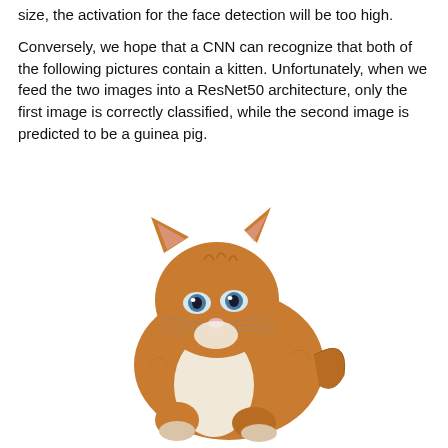size, the activation for the face detection will be too high.
Conversely, we hope that a CNN can recognize that both of the following pictures contain a kitten. Unfortunately, when we feed the two images into a ResNet50 architecture, only the first image is correctly classified, while the second image is predicted to be a guinea pig.
[Figure (photo): A small orange and white kitten standing on a white background, facing slightly left, with blue eyes and fluffy fur.]